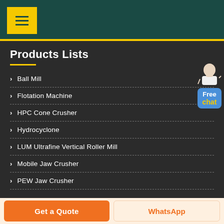≡
Products Lists
Ball Mill
Flotation Machine
HPC Cone Crusher
Hydrocyclone
LUM Ultrafine Vertical Roller Mill
Mobile Jaw Crusher
PEW Jaw Crusher
Free chat
Get a Quote
WhatsApp